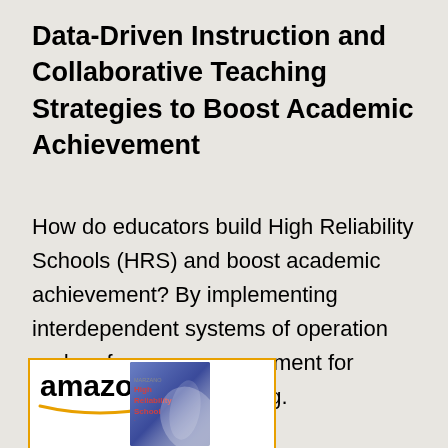Data-Driven Instruction and Collaborative Teaching Strategies to Boost Academic Achievement
How do educators build High Reliability Schools (HRS) and boost academic achievement? By implementing interdependent systems of operation and performance assessment for student-centered learning.
[Figure (other): Amazon logo with orange arrow and a book cover thumbnail showing 'High Reliability School' title with blue/purple imagery]